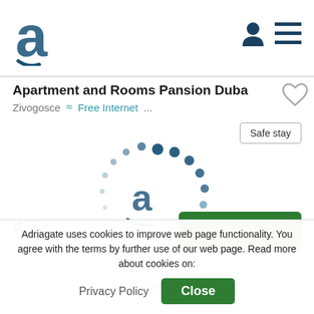Adriagate header with logo and navigation icons
Apartment and Rooms Pansion Duba
Zivogosce  Free Internet  ...
Safe stay
[Figure (logo): Adriagate loading spinner with 'a' logo in center, circular dot pattern around it, image counter 1/32]
4.7/5
View all ratings (3):
Book
Adriagate uses cookies to improve web page functionality. You agree with the terms by further use of our web page. Read more about cookies on:
Privacy Policy
Close